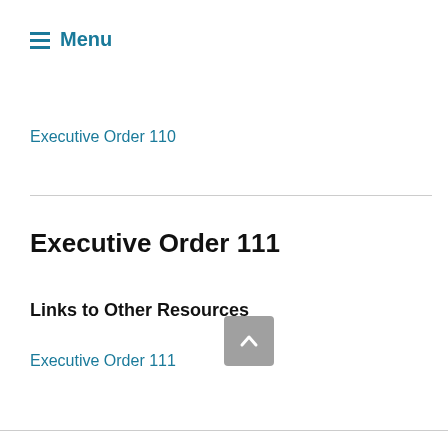≡ Menu
Executive Order 110
Executive Order 111
Links to Other Resources
Executive Order 111